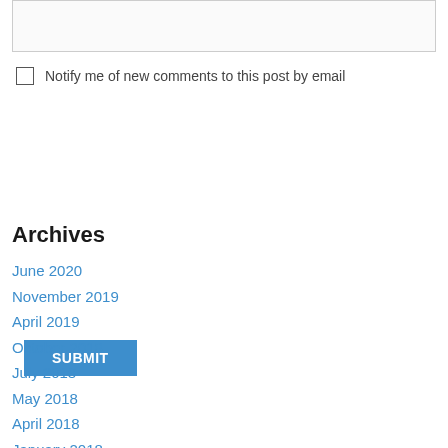[textarea input field]
Notify me of new comments to this post by email
SUBMIT
Archives
June 2020
November 2019
April 2019
October 2018
July 2018
May 2018
April 2018
January 2018
September 2017
June 2017